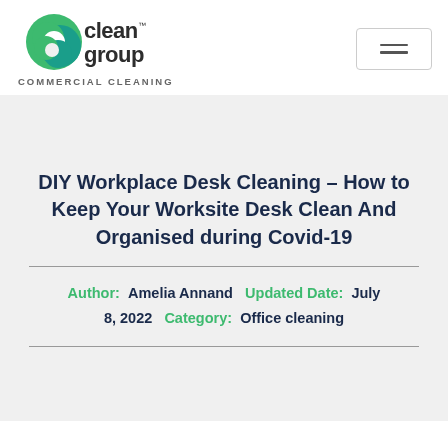[Figure (logo): Clean Group commercial cleaning logo with green/teal swirl 'C' icon and text 'clean group COMMERCIAL CLEANING']
DIY Workplace Desk Cleaning – How to Keep Your Worksite Desk Clean And Organised during Covid-19
Author: Amelia Annand   Updated Date: July 8, 2022   Category: Office cleaning